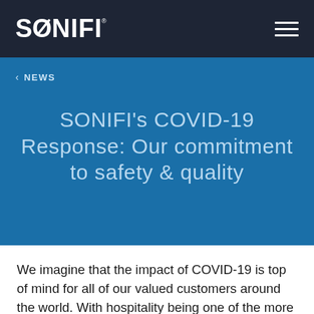[Figure (logo): SONIFI logo in white on dark navy background]
< NEWS
SONIFI's COVID-19 Response: Our commitment to safety & quality
We imagine that the impact of COVID-19 is top of mind for all of our valued customers around the world. With hospitality being one of the more acutely impacted industries, we are highly